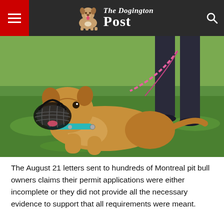The Dogington Post
[Figure (photo): A muzzled pit bull dog with a teal collar lying on grass, held by a pink leash by a person standing behind it.]
The August 21 letters sent to hundreds of Montreal pit bull owners claims their permit applications were either incomplete or they did not provide all the necessary evidence to support that all requirements were meant.